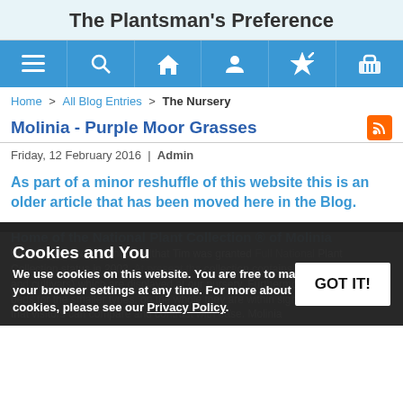The Plantsman's Preference
[Figure (other): Navigation bar with 6 icon buttons: hamburger menu, search, home, person, wand/star, basket]
Home > All Blog Entries > The Nursery
Molinia - Purple Moor Grasses
Friday, 12 February 2016 | Admin
As part of a minor reshuffle of this website this is an older article that has been moved here in the Blog.
Home of the National Plant Collection ® of Molinia
We are pleased to announce that Tim was granted Full National Plant Collection status in 2003. At present the collection contains 35 types (species and cultivars) which are displayed at our nursery. Furthermore, all designated beds for the smaller types, on the whole they are within sight of each other so that visitors can compare and contrast with ease. Molinia
Cookies and You
We use cookies on this website. You are free to manage these via your browser settings at any time. For more about how we use cookies, please see our Privacy Policy.
GOT IT!